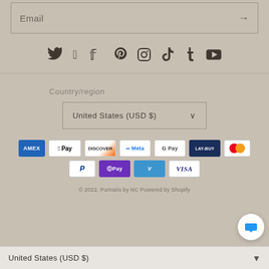Email
[Figure (screenshot): Social media icons: Twitter, Facebook, Pinterest, Instagram, TikTok, Tumblr, YouTube]
Country/region
United States (USD $)
[Figure (screenshot): Payment method logos: Amex, Apple Pay, Discover, Meta, Google Pay, Lay-Buy, Mastercard, PayPal, OPay, Venmo, Visa]
© 2022, Portraits by NC Powered by Shopify
United States (USD $)